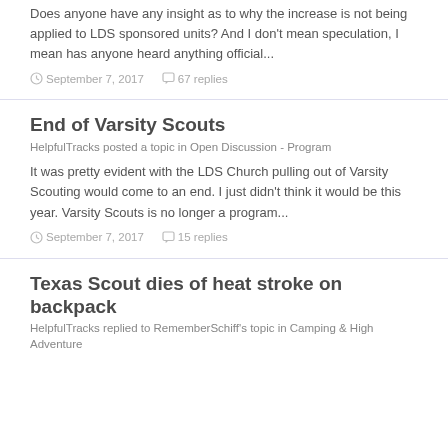Does anyone have any insight as to why the increase is not being applied to LDS sponsored units? And I don't mean speculation, I mean has anyone heard anything official...
September 7, 2017   67 replies
End of Varsity Scouts
HelpfulTracks posted a topic in Open Discussion - Program
It was pretty evident with the LDS Church pulling out of Varsity Scouting would come to an end. I just didn't think it would be this year. Varsity Scouts is no longer a program...
September 7, 2017   15 replies
Texas Scout dies of heat stroke on backpack
HelpfulTracks replied to RememberSchiff's topic in Camping & High Adventure